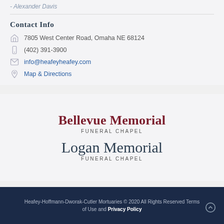- Alexander Davis
Contact Info
7805 West Center Road, Omaha NE 68124
(402) 391-3900
info@heafeyheafey.com
Map & Directions
[Figure (logo): Bellevue Memorial Funeral Chapel logo]
[Figure (logo): Logan Memorial Funeral Chapel logo]
Heafey-Hoffmann-Dworak-Cutler Mortuaries © 2020 All Rights Reserved Terms of Use and Privacy Policy